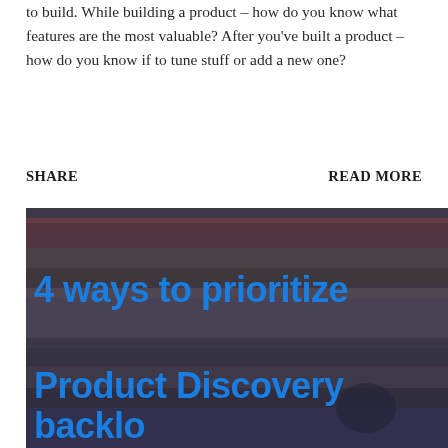to build. While building a product – how do you know what features are the most valuable? After you've built a product – how do you know if to tune stuff or add a new one?
SHARE    READ MORE
[Figure (photo): Photo of a stack of books with blue overlay text reading '4 ways to prioritize Product Discovery backlog']